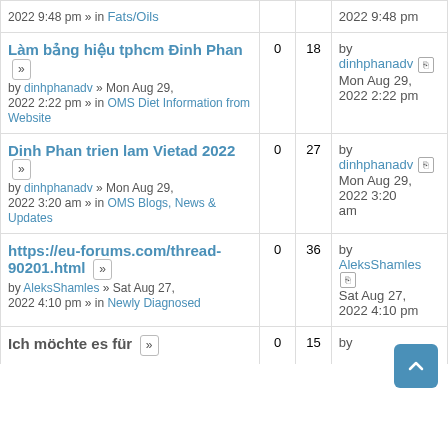| Topic | Replies | Views | Last post |
| --- | --- | --- | --- |
| 2022 9:48 pm » in Fats/Oils |  |  | 2022 9:48 pm |
| Làm bảng hiệu tphcm Đinh Phan
by dinhphanadv » Mon Aug 29, 2022 2:22 pm » in OMS Diet Information from Website | 0 | 18 | by dinhphanadv
Mon Aug 29, 2022 2:22 pm |
| Dinh Phan trien lam Vietad 2022
by dinhphanadv » Mon Aug 29, 2022 3:20 am » in OMS Blogs, News & Updates | 0 | 27 | by dinhphanadv
Mon Aug 29, 2022 3:20 am |
| https://eu-forums.com/thread-90201.html
by AleksShamles » Sat Aug 27, 2022 4:10 pm » in Newly Diagnosed | 0 | 36 | by AleksShamles
Sat Aug 27, 2022 4:10 pm |
| Ich möchte es für | 0 | 15 | by |